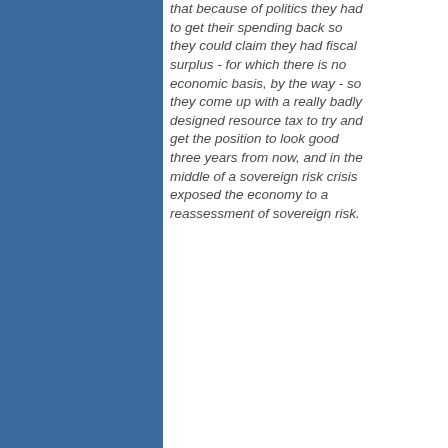that because of politics they had to get their spending back so they could claim they had fiscal surplus - for which there is no economic basis, by the way - so they come up with a really badly designed resource tax to try and get the position to look good three years from now, and in the middle of a sovereign risk crisis exposed the economy to a reassessment of sovereign risk.